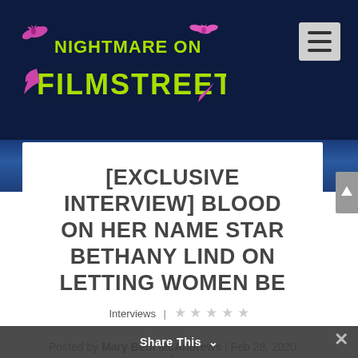[Figure (logo): Nightmare on Film Street logo in green horror-style font with pink bat decorations on dark navy background]
[EXCLUSIVE INTERVIEW] BLOOD ON HER NAME STAR BETHANY LIND ON LETTING WOMEN BE MESSY IN HORROR
Posted by Mary Beth McAndrews | Feb 28, 2020 | Interviews | ☆☆☆☆☆
Share This